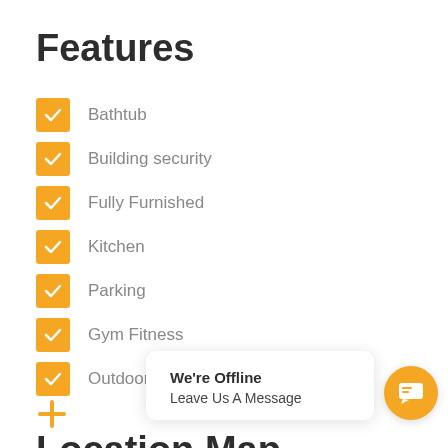Features
Bathtub
Building security
Fully Furnished
Kitchen
Parking
Gym Fitness
Outdoor swimming pool
Location Map
[Figure (other): Chat widget overlay showing 'We're Offline' and 'Leave Us A Message' with orange chat button]